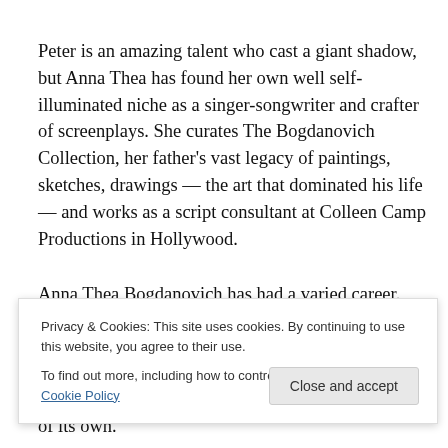Peter is an amazing talent who cast a giant shadow, but Anna Thea has found her own well self-illuminated niche as a singer-songwriter and crafter of screenplays.  She curates The Bogdanovich Collection, her father's vast legacy of paintings, sketches, drawings — the art that dominated his life — and works as a script consultant at Colleen Camp Productions in Hollywood.
Anna Thea Bogdanovich has had a varied career.  She
Privacy & Cookies: This site uses cookies. By continuing to use this website, you agree to their use.
To find out more, including how to control cookies, see here: Cookie Policy
Close and accept
of its own.